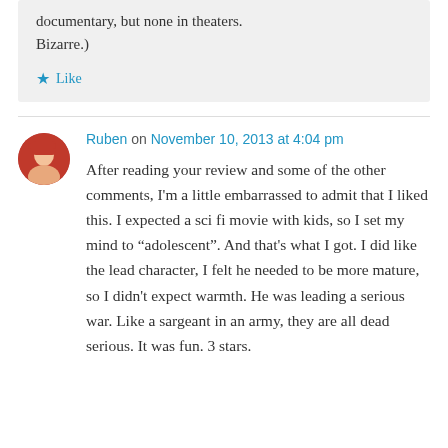documentary, but none in theaters. Bizarre.)
Like
Ruben on November 10, 2013 at 4:04 pm
After reading your review and some of the other comments, I'm a little embarrassed to admit that I liked this. I expected a sci fi movie with kids, so I set my mind to “adolescent”. And that's what I got. I did like the lead character, I felt he needed to be more mature, so I didn't expect warmth. He was leading a serious war. Like a sargeant in an army, they are all dead serious. It was fun. 3 stars.